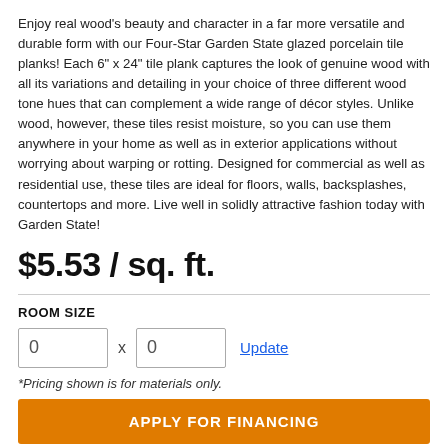Enjoy real wood's beauty and character in a far more versatile and durable form with our Four-Star Garden State glazed porcelain tile planks! Each 6" x 24" tile plank captures the look of genuine wood with all its variations and detailing in your choice of three different wood tone hues that can complement a wide range of décor styles. Unlike wood, however, these tiles resist moisture, so you can use them anywhere in your home as well as in exterior applications without worrying about warping or rotting. Designed for commercial as well as residential use, these tiles are ideal for floors, walls, backsplashes, countertops and more. Live well in solidly attractive fashion today with Garden State!
$5.53 / sq. ft.
ROOM SIZE
0 x 0 Update
*Pricing shown is for materials only.
APPLY FOR FINANCING